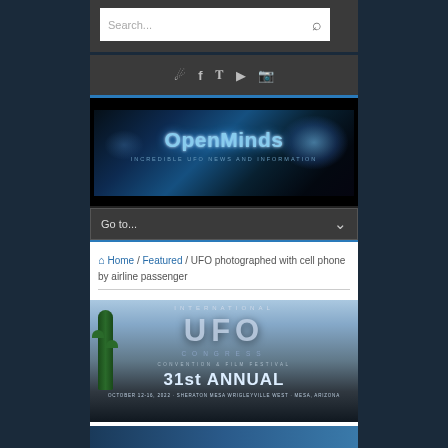[Figure (screenshot): Website screenshot of OpenMinds UFO news website showing search bar, social media icons, OpenMinds banner logo, navigation dropdown, breadcrumb navigation, and UFO Congress advertisement banner]
Home / Featured / UFO photographed with cell phone by airline passenger
[Figure (photo): International UFO Congress Convention & Film Festival 31st Annual - October 12-16, 2022 - Sheraton Mesa Wrigleyville West - Mesa, Arizona advertisement banner]